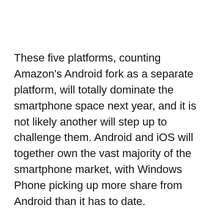These five platforms, counting Amazon's Android fork as a separate platform, will totally dominate the smartphone space next year, and it is not likely another will step up to challenge them. Android and iOS will together own the vast majority of the smartphone market, with Windows Phone picking up more share from Android than it has to date.
Hardware will continue to improve, with faster processors appearing. Dual core processors will be the standard, while a few Android superphones sporting quad core chipsets will blow the doors off